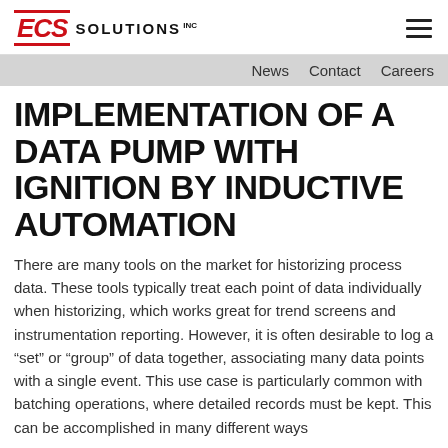ECS SOLUTIONS INC
News  Contact  Careers
IMPLEMENTATION OF A DATA PUMP WITH IGNITION BY INDUCTIVE AUTOMATION
There are many tools on the market for historizing process data. These tools typically treat each point of data individually when historizing, which works great for trend screens and instrumentation reporting. However, it is often desirable to log a “set” or “group” of data together, associating many data points with a single event. This use case is particularly common with batching operations, where detailed records must be kept. This can be accomplished in many different ways